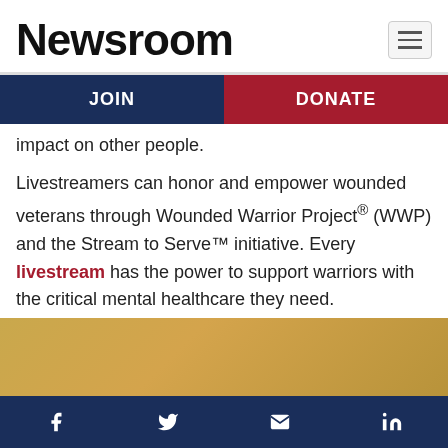Newsroom
JOIN   DONATE
impact on other people.
Livestreamers can honor and empower wounded veterans through Wounded Warrior Project® (WWP) and the Stream to Serve™ initiative. Every livestream has the power to support warriors with the critical mental healthcare they need.
[Figure (illustration): Gold/tan colored banner strip]
Facebook, Twitter, Email, LinkedIn social media icons